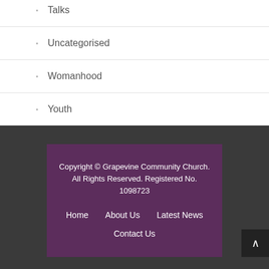Talks
Uncategorised
Womanhood
Youth
Copyright © Grapevine Community Church. All Rights Reserved. Registered No. 1098723
Home   About Us   Latest News
Contact Us